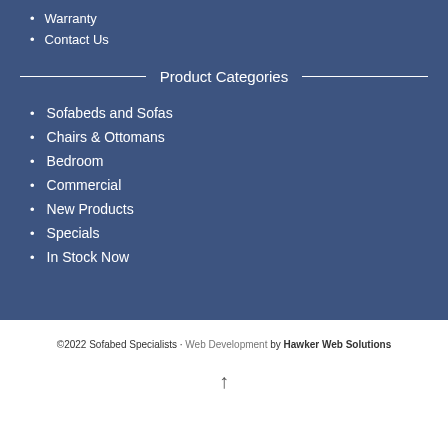Warranty
Contact Us
Product Categories
Sofabeds and Sofas
Chairs & Ottomans
Bedroom
Commercial
New Products
Specials
In Stock Now
©2022 Sofabed Specialists · Web Development by Hawker Web Solutions